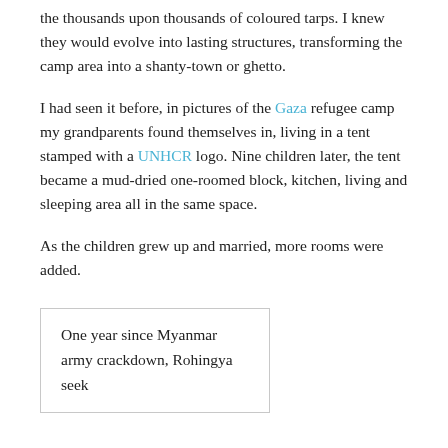the thousands upon thousands of coloured tarps. I knew they would evolve into lasting structures, transforming the camp area into a shanty-town or ghetto.
I had seen it before, in pictures of the Gaza refugee camp my grandparents found themselves in, living in a tent stamped with a UNHCR logo. Nine children later, the tent became a mud-dried one-roomed block, kitchen, living and sleeping area all in the same space.
As the children grew up and married, more rooms were added.
One year since Myanmar army crackdown, Rohingya seek